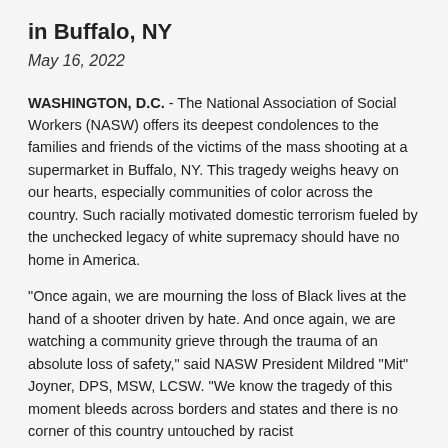in Buffalo, NY
May 16, 2022
WASHINGTON, D.C. - The National Association of Social Workers (NASW) offers its deepest condolences to the families and friends of the victims of the mass shooting at a supermarket in Buffalo, NY. This tragedy weighs heavy on our hearts, especially communities of color across the country. Such racially motivated domestic terrorism fueled by the unchecked legacy of white supremacy should have no home in America.
“Once again, we are mourning the loss of Black lives at the hand of a shooter driven by hate. And once again, we are watching a community grieve through the trauma of an absolute loss of safety,” said NASW President Mildred "Mit" Joyner, DPS, MSW, LCSW. "We know the tragedy of this moment bleeds across borders and states and there is no corner of this country untouched by racist